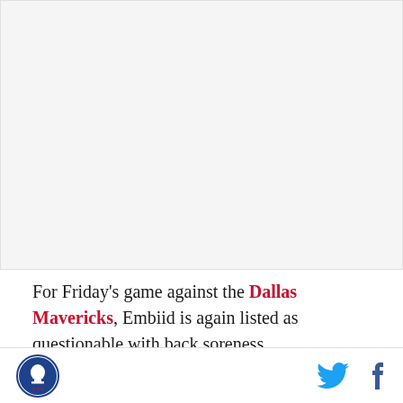[Figure (photo): Blank/empty image placeholder area at top of article]
For Friday’s game against the Dallas Mavericks, Embiid is again listed as questionable with back soreness.

As the team continues to monitor Embiid carefully, we
Philadelphia 76ers logo | Twitter icon | Facebook icon